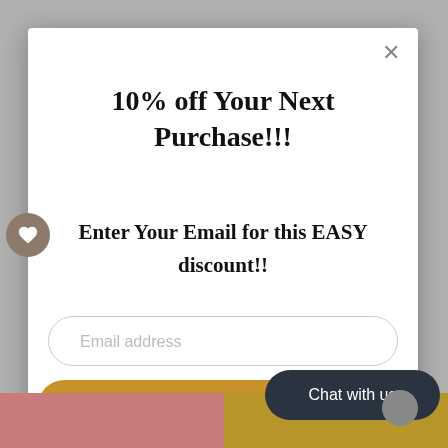[Figure (screenshot): Website popup modal with discount offer, email input field, sign up button, and chat with us button overlay on a gray background with book images at bottom]
10% off Your Next Purchase!!!
Enter Your Email for this EASY discount!!
Email address
Sign Up
Chat with us